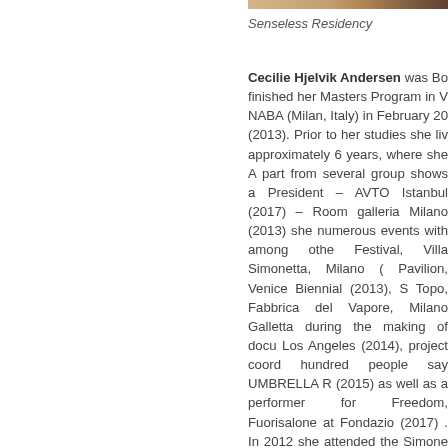[Figure (photo): Partial image strip at the top right, showing a cropped interior/art scene]
Senseless Residency
Cecilie Hjelvik Andersen was Bo... finished her Masters Program in V... NABA (Milan, Italy) in February 20... (2013). Prior to her studies she liv... approximately 6 years, where she... A part from several group shows a... President – AVTO Istanbul (2017)... – Room galleria Milano (2013) she... numerous events with among othe... Festival, Villa Simonetta, Milano (... Pavilion, Venice Biennial (2013), S... Topo, Fabbrica del Vapore, Milano... Galletta during the making of docu... Los Angeles (2014), project coord... hundred people say UMBRELLA b... (2015) as well as a performer for... Freedom, Fuorisalone at Fondazi... (2017) . In 2012 she attended the... Simone Frangi) and in 2016 she...